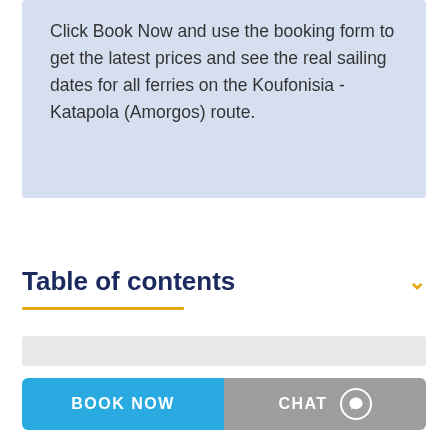Click Book Now and use the booking form to get the latest prices and see the real sailing dates for all ferries on the Koufonisia - Katapola (Amorgos) route.
Table of contents
BOOK NOW
CHAT